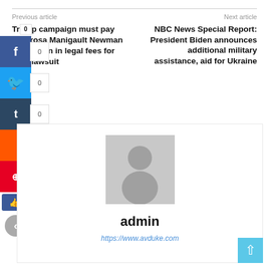Previous article
Next article
Trump campaign must pay Omarosa Manigault Newman $1 million in legal fees for NDA lawsuit
NBC News Special Report: President Biden announces additional military assistance, aid for Ukraine
admin
https://www.avduke.com